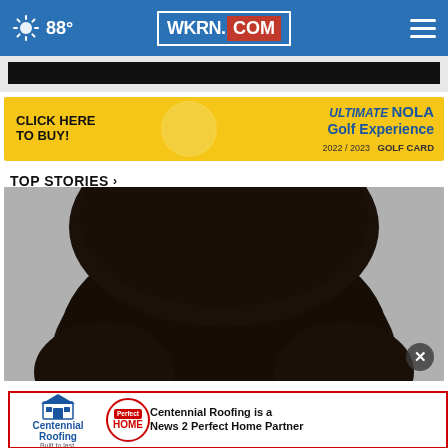88° WKRN.COM
[Figure (screenshot): Partial video player thumbnail, dark/black area visible at the top]
[Figure (infographic): Advertisement banner: CLICK HERE TO BUY! ULTIMATE NOLA Golf Experience 2022/2023 GOLF CARD]
TOP STORIES ›
[Figure (photo): Close-up photo of a person's dark hair, forehead barely visible, gray background]
[Figure (infographic): Advertisement: Centennial Roofing - Centennial Roofing is a News 2 Perfect Home Partner]